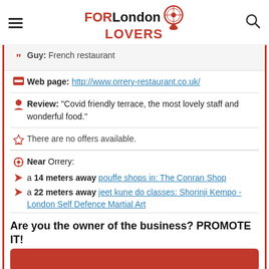FORLondon LOVERS
Guy: French restaurant
Web page: http://www.orrery-restaurant.co.uk/
Review: "Covid friendly terrace, the most lovely staff and wonderful food."
There are no offers available.
Near Orrery:
a 14 meters away pouffe shops in: The Conran Shop
a 22 meters away jeet kune do classes: Shorinji Kempo - London Self Defence Martial Art
Are you the owner of the business? PROMOTE IT!